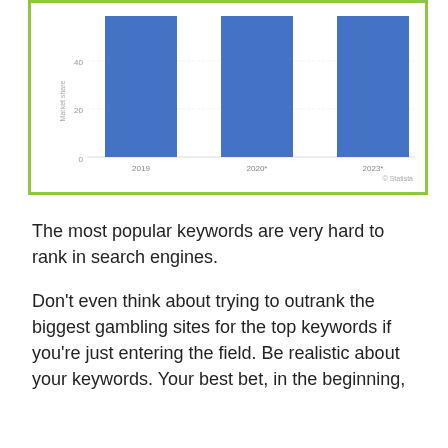[Figure (bar-chart): ]
The most popular keywords are very hard to rank in search engines.
Don’t even think about trying to outrank the biggest gambling sites for the top keywords if you’re just entering the field. Be realistic about your keywords. Your best bet, in the beginning,